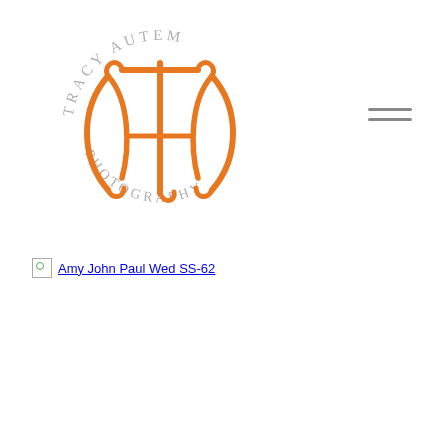[Figure (logo): Tracy Autem Photography circular logo with orange stylized AT monogram and gray curved text reading TRACY AUTEM around the top and PHOTOGRAPHY around the bottom]
[Figure (other): Hamburger menu icon consisting of two horizontal gray lines]
Amy John Paul Wed SS-62